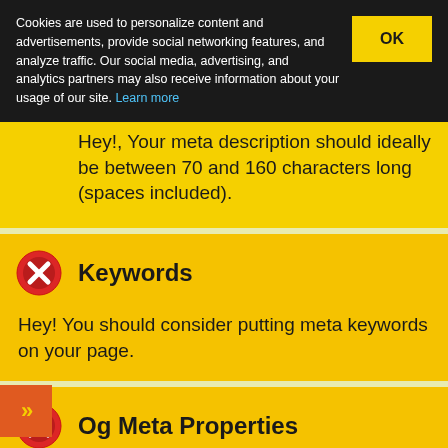Cookies are used to personalize content and advertisements, provide social networking features, and analyze traffic. Our social media, advertising, and analytics partners may also receive information about your usage of our site. Learn more
Hey!, Your meta description should ideally be between 70 and 160 characters long (spaces included).
Keywords
Hey! You should consider putting meta keywords on your page.
Og Meta Properties
Og Properties aren't being used on this page. This tag helps social crawlers like facebook and twitter